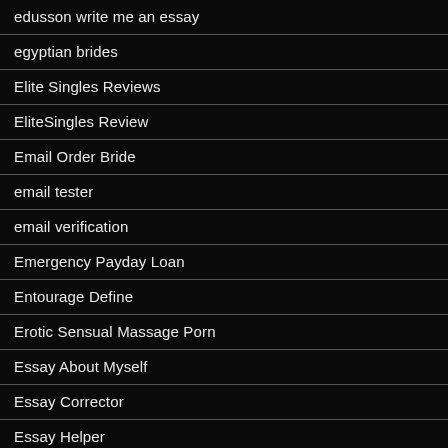edusson write me an essay
egyptian brides
Elite Singles Reviews
EliteSingles Review
Email Order Bride
email tester
email verification
Emergency Payday Loan
Entourage Define
Erotic Sensual Massage Porn
Essay About Myself
Essay Corrector
Essay Helper